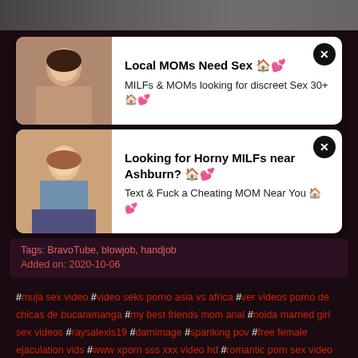[Figure (photo): Top strip showing partial adult content images]
[Figure (photo): Ad card 1: Local MOMs Need Sex - thumbnail of woman]
Local MOMs Need Sex 🏠💕
MILFs & MOMs looking for discreet Sex 30+ 🏠💕
[Figure (photo): Ad card 2: Looking for Horny MILFs near Ashburn? - thumbnail of woman]
Looking for Horny MILFs near Ashburn? 🏠💕
Text & Fuck a Cheating MOM Near You 🏠💕
Tags: BravoTube, blowjob, handjob
Added on: 2020-10-06
#muja sex video #video seks porno asia vs africa #ver videos porno de chicas de bucaramanga #my best friends mom anal #noida married girl sex videos #raysalexis19 #damimage #spanking pov #free female ejaculation vids #www xporn sss xxx video hd #romantic porn sex video #mandy flores handjob #sex video in liverpool made xx scanel #sunnylegalxxx #korean movie sex videos12 #pineapples1991 #ruth blackwell xxx #chirbit porn #teluga heroing samatham sex videous